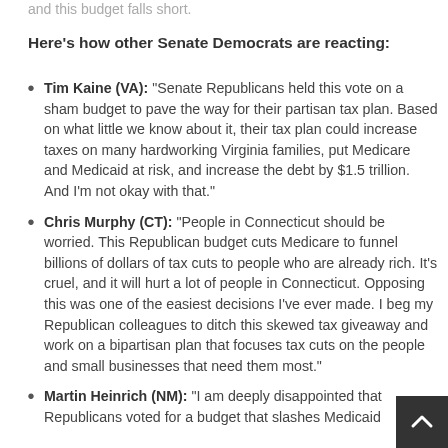and this budget falls short.
Here's how other Senate Democrats are reacting:
Tim Kaine (VA): “Senate Republicans held this vote on a sham budget to pave the way for their partisan tax plan. Based on what little we know about it, their tax plan could increase taxes on many hardworking Virginia families, put Medicare and Medicaid at risk, and increase the debt by $1.5 trillion. And I’m not okay with that.”
Chris Murphy (CT): “People in Connecticut should be worried. This Republican budget cuts Medicare to funnel billions of dollars of tax cuts to people who are already rich. It’s cruel, and it will hurt a lot of people in Connecticut. Opposing this was one of the easiest decisions I’ve ever made. I beg my Republican colleagues to ditch this skewed tax giveaway and work on a bipartisan plan that focuses tax cuts on the people and small businesses that need them most.”
Martin Heinrich (NM): “I am deeply disappointed that Republicans voted for a budget that slashes Medicaid